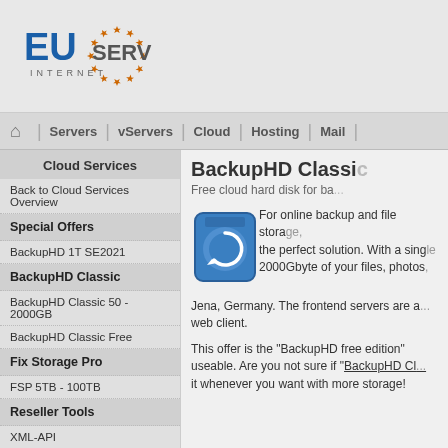[Figure (logo): EUserv Internet logo with EU stars circle]
Home | Servers | vServers | Cloud | Hosting | Mail
Cloud Services
Back to Cloud Services Overview
Special Offers
BackupHD 1T SE2021
BackupHD Classic
BackupHD Classic 50 - 2000GB
BackupHD Classic Free
Fix Storage Pro
FSP 5TB - 100TB
Reseller Tools
XML-API
BackupHD Classic
Free cloud hard disk for ba...
[Figure (illustration): Blue hard disk drive icon with circular arrow indicating backup/sync]
For online backup and file storage, the perfect solution. With a single account store up to 2000Gbyte of your files, photos, and documents on our servers in Jena, Germany. The frontend servers are accessible via FTP, FTPS, SFTP, or web client.
This offer is the "BackupHD free edition" which is immediately useable. Are you not sure if "BackupHD Classic" is right? Upgrade it whenever you want with more storage!